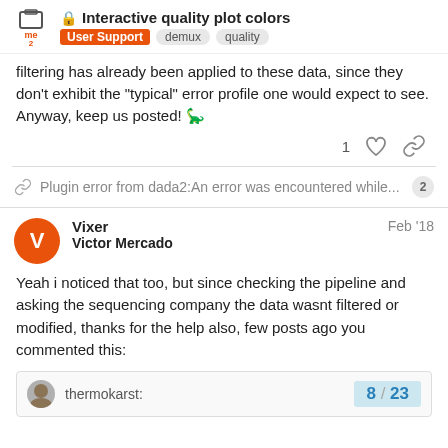Interactive quality plot colors | User Support | demux | quality
filtering has already been applied to these data, since they don't exhibit the "typical" error profile one would expect to see. Anyway, keep us posted! 🦕
1 ♡ 🔗
🔗 Plugin error from dada2:An error was encountered while... 2
Vixer  Feb '18
Victor Mercado
Yeah i noticed that too, but since checking the pipeline and asking the sequencing company the data wasnt filtered or modified, thanks for the help also, few posts ago you commented this:
thermokarst: 8 / 23